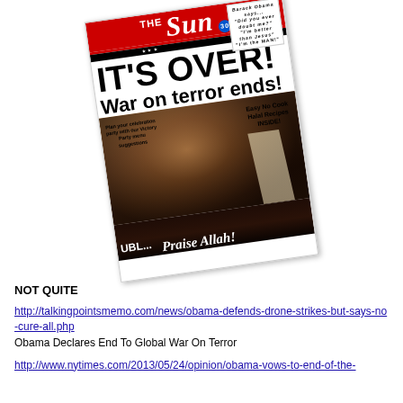[Figure (photo): A satirical/fake newspaper front page styled as 'The Sun' showing a large face with headline 'IT'S OVER! War on terror ends!' and text 'UBL... Praise Allah!' with a small Obama quote in the corner]
NOT QUITE
http://talkingpointsmemo.com/news/obama-defends-drone-strikes-but-says-no-cure-all.php
Obama Declares End To Global War On Terror
http://www.nytimes.com/2013/05/24/opinion/obama-vows-to-end-of-the-